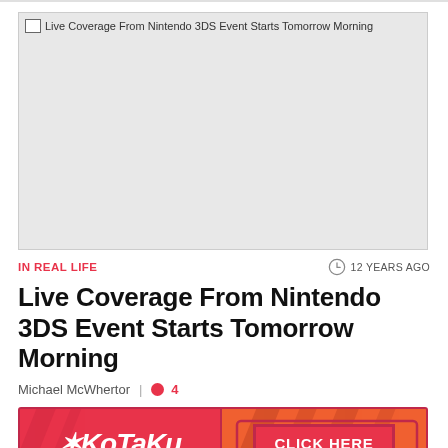[Figure (photo): Placeholder image for Nintendo 3DS event article with alt text 'Live Coverage From Nintendo 3DS Event Starts Tomorrow Morning']
IN REAL LIFE
12 YEARS AGO
Live Coverage From Nintendo 3DS Event Starts Tomorrow Morning
Michael McWhertor | 4
[Figure (screenshot): Kotaku advertisement banner with 'CLICK HERE' button]